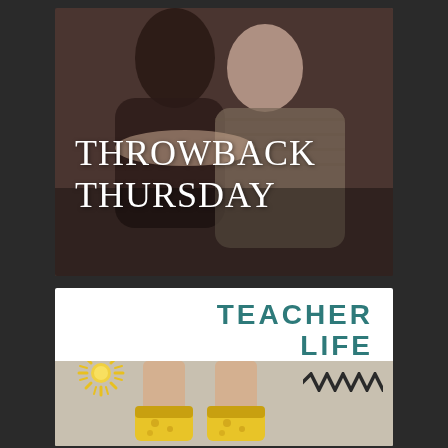[Figure (photo): Two people hugging and smiling, couple photo with warm brown tones, appears to be a throwback/older photo]
THROWBACK THURSDAY
[Figure (photo): White card with 'TEACHER LIFE' text in teal, with a photo of yellow shoes/flats on a person's feet, decorated with a sun starburst sticker and zigzag sticker]
TEACHER LIFE